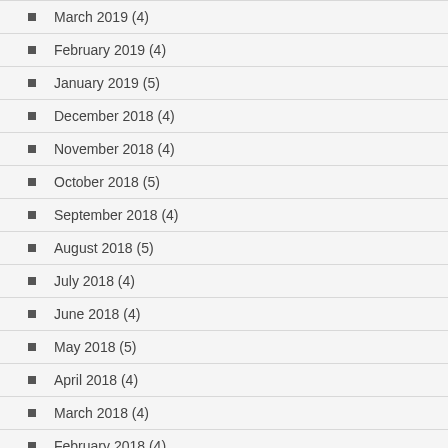March 2019 (4)
February 2019 (4)
January 2019 (5)
December 2018 (4)
November 2018 (4)
October 2018 (5)
September 2018 (4)
August 2018 (5)
July 2018 (4)
June 2018 (4)
May 2018 (5)
April 2018 (4)
March 2018 (4)
February 2018 (4)
January 2018 (5)